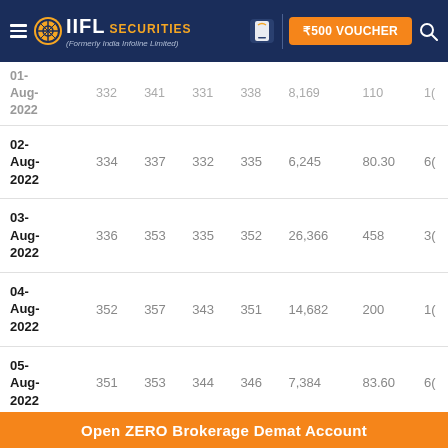IIFL Securities (Formerly India Infoline Limited) | ₹500 VOUCHER
| Date | Open | High | Low | Close | Volume | Value | ... |
| --- | --- | --- | --- | --- | --- | --- | --- |
| 01-Aug-2022 | 332 | 341 | 331 | 338 | 8,169 | 110 | 10... |
| 02-Aug-2022 | 334 | 337 | 332 | 335 | 6,245 | 80.30 | 6... |
| 03-Aug-2022 | 336 | 353 | 335 | 352 | 26,366 | 458 | 3... |
| 04-Aug-2022 | 352 | 357 | 343 | 351 | 14,682 | 200 | 1... |
| 05-Aug-2022 | 351 | 353 | 344 | 346 | 7,384 | 83.60 | 6... |
Open ZERO Brokerage Demat Account